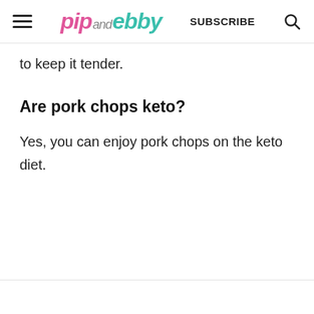pip and ebby — SUBSCRIBE
to keep it tender.
Are pork chops keto?
Yes, you can enjoy pork chops on the keto diet.